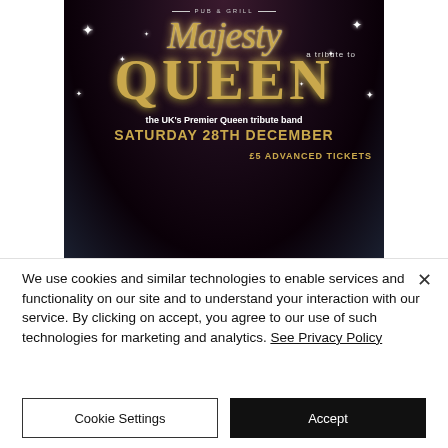[Figure (photo): Event poster for 'Majesty - a tribute to Queen' at a Pub & Grill. Dark purple/black background with gold sparkle stars. Features 'Majesty' in gold italic script, 'a tribute to' in small white text, 'QUEEN' in large bold gold letters. Text reads: 'the UK's Premier Queen tribute band', 'SATURDAY 28TH DECEMBER', '£5 ADVANCED TICKETS'. Bottom shows partial face image.]
We use cookies and similar technologies to enable services and functionality on our site and to understand your interaction with our service. By clicking on accept, you agree to our use of such technologies for marketing and analytics. See Privacy Policy